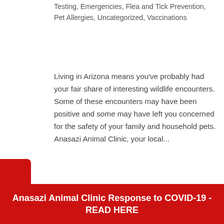Testing, Emergencies, Flea and Tick Prevention, Pet Allergies, Uncategorized, Vaccinations
Living in Arizona means you've probably had your fair share of interesting wildlife encounters. Some of these encounters may have been positive and some may have left you concerned for the safety of your family and household pets. Anasazi Animal Clinic, your local...
[Figure (photo): A black and white cat peeking from inside a box surrounded by colorful Christmas gift wrapping paper and gift bags]
Anasazi Animal Clinic Response to COVID-19 - READ HERE